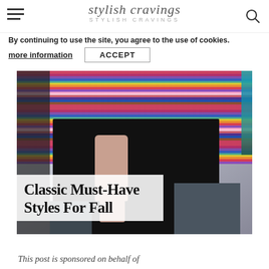stylish cravings
By continuing to use the site, you agree to the use of cookies.
more information   ACCEPT
[Figure (photo): Fashion photo showing a person wearing a colorful knit top with multicolored stripes over a black garment, with jeans visible at the bottom. Text overlay reads 'Classic Must-Have Styles For Fall'.]
Classic Must-Have Styles For Fall
This post is sponsored on behalf of